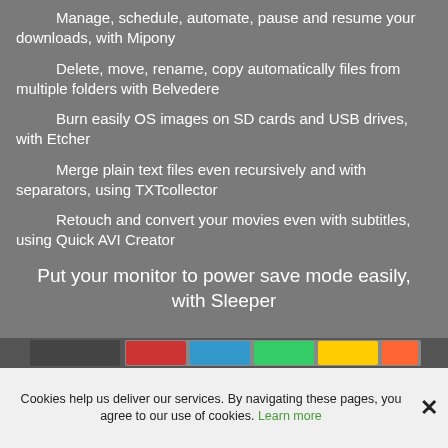Manage, schedule, automate, pause and resume your downloads, with Mipony
Delete, move, rename, copy automatically files from multiple folders with Belvedere
Burn easily OS images on SD cards and USB drives, with Etcher
Merge plain text files even recursively and with separators, using TXTcollector
Retouch and convert your movies even with subtitles, using Quick AVI Creator
Put your monitor to power save mode easily, with Sleeper
[Figure (photo): Partial screenshot of software or application icons at the bottom of the page]
Cookies help us deliver our services. By navigating these pages, you agree to our use of cookies. Learn more